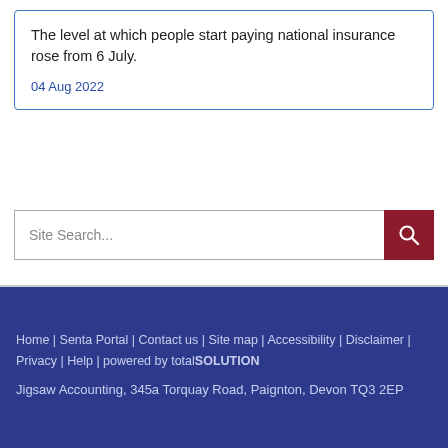The level at which people start paying national insurance rose from 6 July.

04 Aug 2022
Site Search...
Home | Senta Portal | Contact us | Site map | Accessibility | Disclaimer | Privacy | Help | powered by totalSOLUTION
Jigsaw Accounting, 345a Torquay Road, Paignton, Devon TQ3 2EP